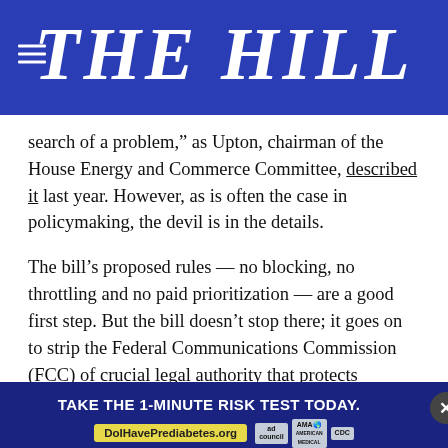THE HILL
search of a problem,” as Upton, chairman of the House Energy and Commerce Committee, described it last year. However, as is often the case in policymaking, the devil is in the details.
The bill’s proposed rules — no blocking, no throttling and no paid prioritization — are a good first step. But the bill doesn’t stop there; it goes on to strip the Federal Communications Commission (FCC) of crucial legal authority that protects consumers and small businesses on the Internet. The bill’s rigid framework would significantly limit the FCC’s ability to adapt to evolving consumer harms. Moreover, it would… et its new, l… departure from current regulatory practice from…
[Figure (other): Advertisement banner: TAKE THE 1-MINUTE RISK TEST TODAY. DolHavePrediabetes.org with ad council, AMA, and CDC logos. Close button (x).]